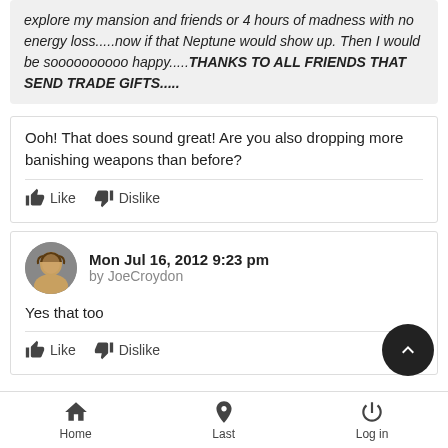explore my mansion and friends or 4 hours of madness with no energy loss.....now if that Neptune would show up. Then I would be soooooooooo happy.....THANKS TO ALL FRIENDS THAT SEND TRADE GIFTS.....
Ooh! That does sound great! Are you also dropping more banishing weapons than before?
Mon Jul 16, 2012 9:23 pm by JoeCroydon
Yes that too